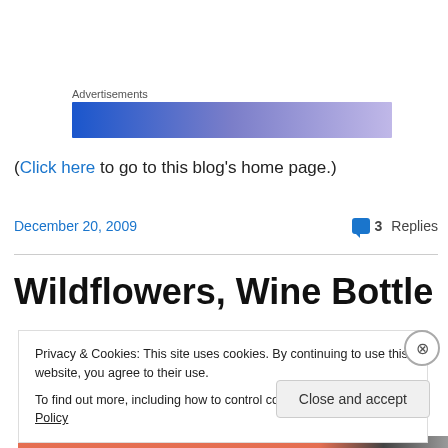Advertisements
[Figure (other): Advertisements banner — horizontal gradient bar from dark blue on left to light purple on right]
(Click here to go to this blog’s home page.)
December 20, 2009
3 Replies
Wildflowers, Wine Bottles, and
Privacy & Cookies: This site uses cookies. By continuing to use this website, you agree to their use.
To find out more, including how to control cookies, see here: Cookie Policy
Close and accept